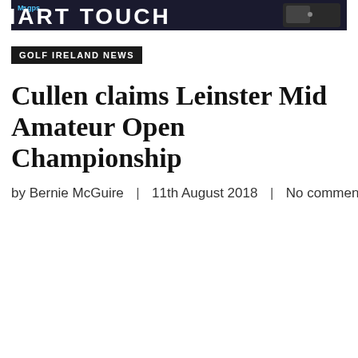[Figure (other): Banner advertisement for M5gps Smart Touch product with dark background and large bold white text]
GOLF IRELAND NEWS
Cullen claims Leinster Mid Amateur Open Championship
by Bernie McGuire  |  11th August 2018  |  No comments